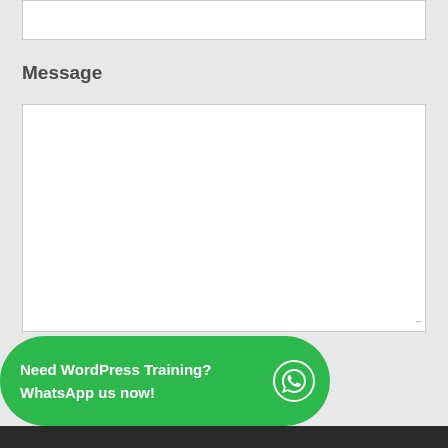[Figure (screenshot): Top portion of a web form input field (white box), partially visible at the top of the page]
Message
[Figure (screenshot): Large white textarea input box for message entry with resize handle at bottom-right corner]
Contact Us
Need WordPress Training? WhatsApp us now!